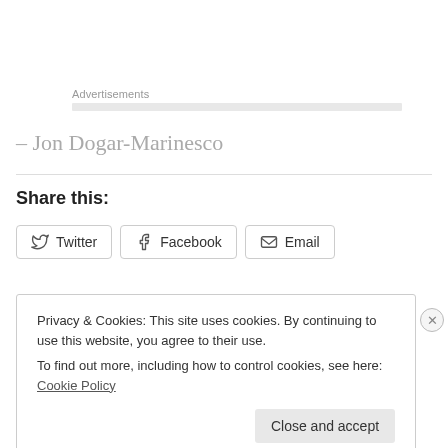Advertisements
– Jon Dogar-Marinesco
Share this:
Twitter  Facebook  Email
Privacy & Cookies: This site uses cookies. By continuing to use this website, you agree to their use. To find out more, including how to control cookies, see here: Cookie Policy
Close and accept